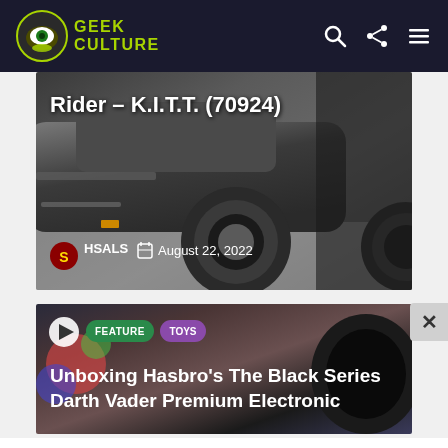Geek Culture
[Figure (screenshot): KITT car from Knight Rider - article thumbnail showing the black car close-up with title overlay: Rider – K.I.T.T. (70924), author HSALS, date August 22, 2022]
[Figure (screenshot): Second article thumbnail showing dark background with play button, FEATURE and TOYS tags, title: Unboxing Hasbro's The Black Series Darth Vader Premium Electronic]